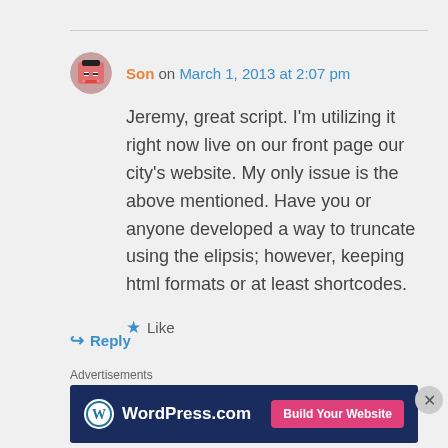Son on March 1, 2013 at 2:07 pm
Jeremy, great script. I'm utilizing it right now live on our front page our city's website. My only issue is the above mentioned. Have you or anyone developed a way to truncate using the elipsis; however, keeping html formats or at least shortcodes.
★ Like
↪ Reply
Advertisements
[Figure (logo): WordPress.com advertisement banner with logo and 'Build Your Website' button]